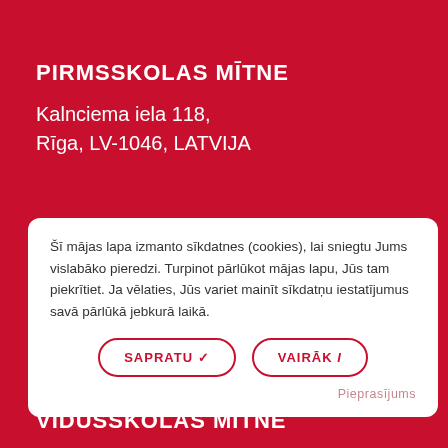PIRMSSKOLAS MĪTNE
Kalnciema iela 118,
Rīga, LV-1046, LATVIJA
SKATĪT VIRZIENUS
info@isriga.lv
+371 67 02 4022
Šī mājas lapa izmanto sīkdatnes (cookies), lai sniegtu Jums vislabāko pieredzi. Turpinot pārlūkot mājas lapu, Jūs tam piekrītiet. Ja vēlaties, Jūs variet mainīt sīkdatņu iestatījumus savā pārlūkā jebkurā laikā.
SAPRATU ✓
VAIRĀK i
Pieprasījums
VIDUSSKOLAS MĪTNE